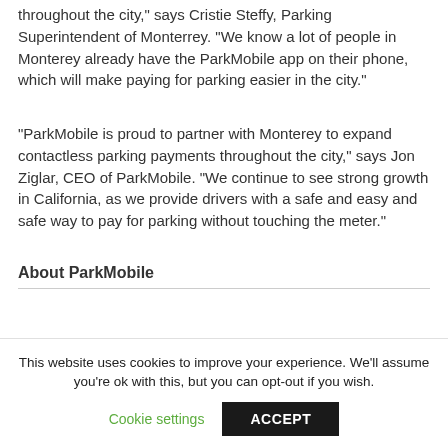throughout the city," says Cristie Steffy, Parking Superintendent of Monterrey. "We know a lot of people in Monterey already have the ParkMobile app on their phone, which will make paying for parking easier in the city."
"ParkMobile is proud to partner with Monterey to expand contactless parking payments throughout the city," says Jon Ziglar, CEO of ParkMobile. "We continue to see strong growth in California, as we provide drivers with a safe and easy and safe way to pay for parking without touching the meter."
About ParkMobile
This website uses cookies to improve your experience. We'll assume you're ok with this, but you can opt-out if you wish.
Cookie settings | ACCEPT